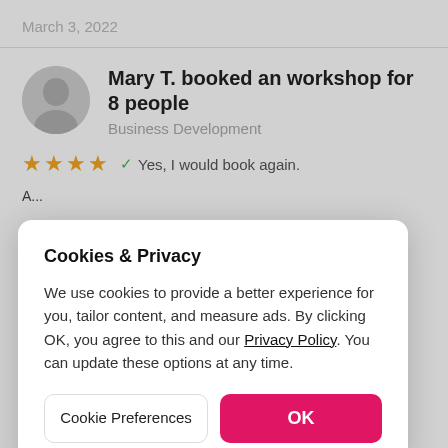March 3, 2022
Mary T. booked an workshop for 8 people
Business Development
★★★★ Yes, I would book again.
Cookies & Privacy
We use cookies to provide a better experience for you, tailor content, and measure ads. By clicking OK, you agree to this and our Privacy Policy. You can update these options at any time.
Cookie Preferences
OK